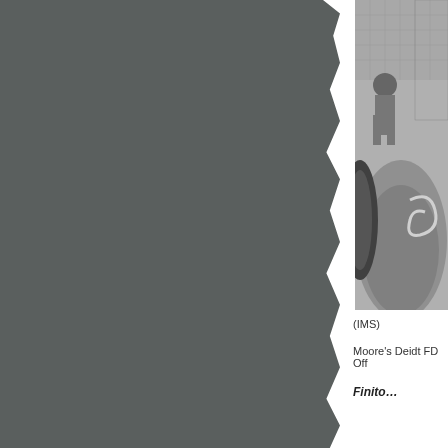[Figure (photo): Black and white photograph showing a person near what appears to be a racing car, with stadium seating visible in the background. Partial view — right side cropped.]
(IMS)
Moore's Deidt FD Off
Finito…